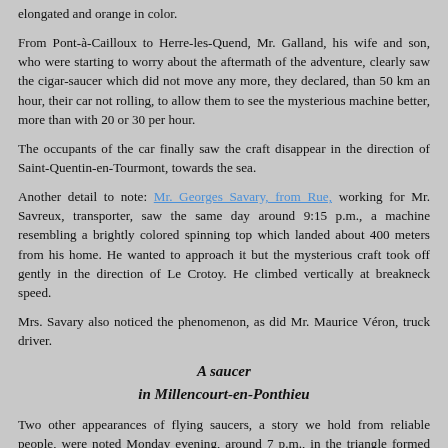elongated and orange in color.
From Pont-à-Cailloux to Herre-les-Quend, Mr. Galland, his wife and son, who were starting to worry about the aftermath of the adventure, clearly saw the cigar-saucer which did not move any more, they declared, than 50 km an hour, their car not rolling, to allow them to see the mysterious machine better, more than with 20 or 30 per hour.
The occupants of the car finally saw the craft disappear in the direction of Saint-Quentin-en-Tourmont, towards the sea.
Another detail to note: Mr. Georges Savary, from Rue, working for Mr. Savreux, transporter, saw the same day around 9:15 p.m., a machine resembling a brightly colored spinning top which landed about 400 meters from his home. He wanted to approach it but the mysterious craft took off gently in the direction of Le Crotoy. He climbed vertically at breakneck speed.
Mrs. Savary also noticed the phenomenon, as did Mr. Maurice Véron, truck driver.
A saucer
in Millencourt-en-Ponthieu
Two other appearances of flying saucers, a story we hold from reliable people, were noted Monday evening, around 7 p.m., in the triangle formed north of Abbeville by the municipalities of Millencourt-en-Ponthieu, Agenvillers and Saint-Riquier.
An owner of Caours-l'Heure, who only wanted to entrust his adventure to his